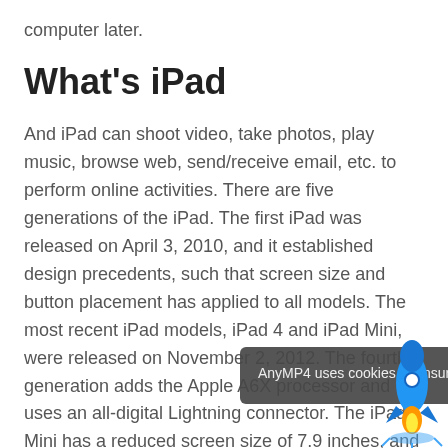computer later.
What's iPad
And iPad can shoot video, take photos, play music, browse web, send/receive email, etc. to perform online activities. There are five generations of the iPad. The first iPad was released on April 3, 2010, and it established design precedents, such that screen size and button placement has applied to all models. The most recent iPad models, iPad 4 and iPad Mini, were released on November 2, 2012. The fourth generation adds the Apple A6X processor and uses an all-digital Lightning connector. The iPad Mini has a reduced screen size of 7.9 inches, and iOS 6 added to the iPad Mini.
AnyMP4 uses cookies to ensure you get the best experience on our website. Privacy Policy Got it!